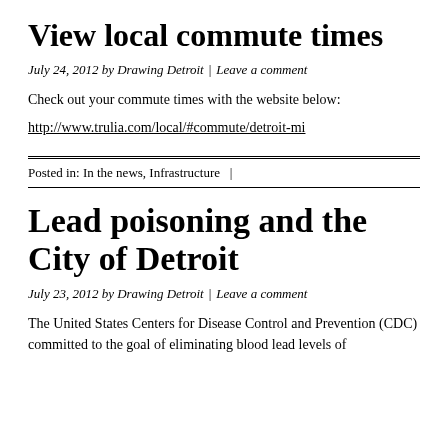View local commute times
July 24, 2012 by Drawing Detroit  |  Leave a comment
Check out your commute times with the website below:
http://www.trulia.com/local/#commute/detroit-mi
Posted in: In the news, Infrastructure  |
Lead poisoning and the City of Detroit
July 23, 2012 by Drawing Detroit  |  Leave a comment
The United States Centers for Disease Control and Prevention (CDC) committed to the goal of eliminating blood lead levels of